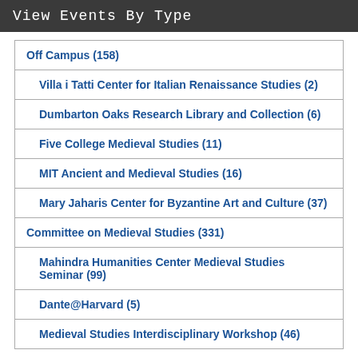View Events By Type
Off Campus (158)
Villa i Tatti Center for Italian Renaissance Studies (2)
Dumbarton Oaks Research Library and Collection (6)
Five College Medieval Studies (11)
MIT Ancient and Medieval Studies (16)
Mary Jaharis Center for Byzantine Art and Culture (37)
Committee on Medieval Studies (331)
Mahindra Humanities Center Medieval Studies Seminar (99)
Dante@Harvard (5)
Medieval Studies Interdisciplinary Workshop (46)